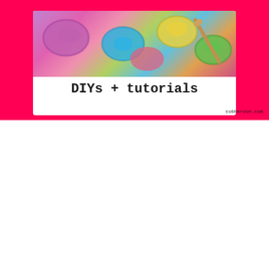[Figure (photo): Blog category card with hot pink background, white inner card showing colorful yarn/craft photo and text 'DIYs + tutorials' in typewriter font. Website URL 'cobberoon.com' at bottom right.]
[Figure (photo): Blog card with hot pink background, white inner card showing a red marquee-style heart with white bulb lights on a pink background. Dark arrow-up button at bottom right corner.]